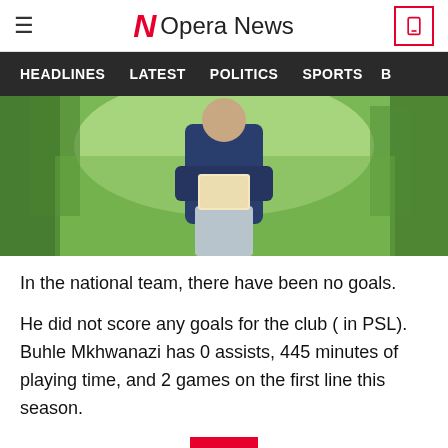Opera News
[Figure (photo): Person in navy blue hoodie and light grey pants reading from a book or phone outdoors, with green trees in background and another person in distance]
In the national team, there have been no goals.
He did not score any goals for the club ( in PSL). Buhle Mkhwanazi has 0 assists, 445 minutes of playing time, and 2 games on the first line this season.